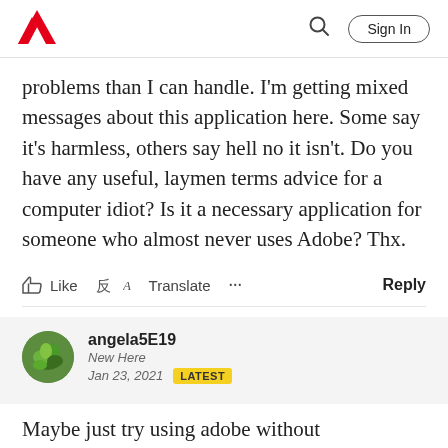Adobe | Sign In
problems than I can handle. I'm getting mixed messages about this application here. Some say it's harmless, others say hell no it isn't. Do you have any useful, laymen terms advice for a computer idiot? Is it a necessary application for someone who almost never uses Adobe? Thx.
Like   Translate   ...   Reply
angela5E19
New Here
Jan 23, 2021   LATEST
Maybe just try using adobe without